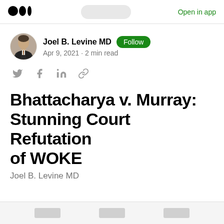Medium logo | Open in app
[Figure (photo): Author avatar photo of Joel B. Levine MD, a man in a suit]
Joel B. Levine MD · Follow · Apr 9, 2021 · 2 min read
[Figure (other): Social share icons: Twitter, Facebook, LinkedIn, link]
Bhattacharya v. Murray: Stunning Court Refutation of WOKE
Joel B. Levine MD
Bottom navigation tabs